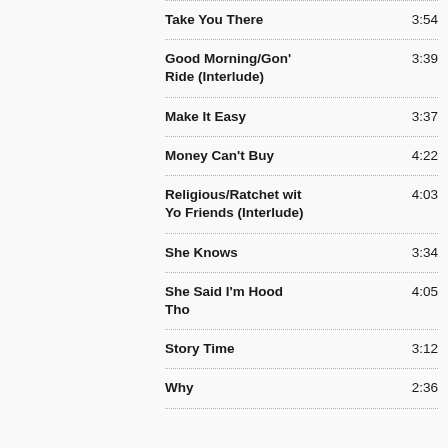Take You There	3:54
Good Morning/Gon' Ride (Interlude)	3:39
Make It Easy	3:37
Money Can't Buy	4:22
Religious/Ratchet wit Yo Friends (Interlude)	4:03
She Knows	3:34
She Said I'm Hood Tho	4:05
Story Time	3:12
Why	2:36